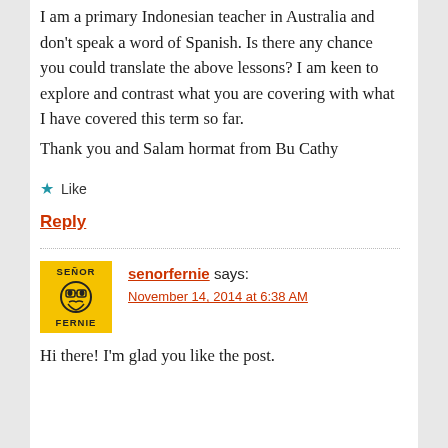I am a primary Indonesian teacher in Australia and don't speak a word of Spanish. Is there any chance you could translate the above lessons? I am keen to explore and contrast what you are covering with what I have covered this term so far.
Thank you and Salam hormat from Bu Cathy
Like
Reply
senorfernie says:
November 14, 2014 at 6:38 AM
Hi there! I'm glad you like the post.